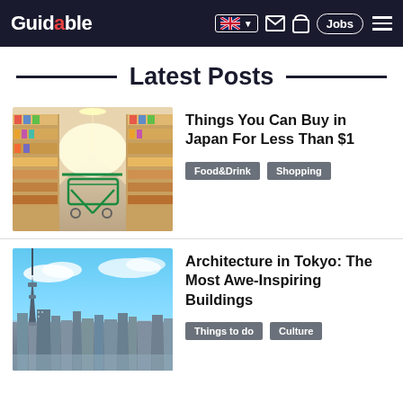Guidable — navigation header with logo, language selector, mail, bag, Jobs, and menu icons
Latest Posts
[Figure (photo): Supermarket aisle with a green shopping cart viewed from behind, shelves filled with products on both sides, bright overhead lighting]
Things You Can Buy in Japan For Less Than $1
Food&Drink  Shopping
[Figure (photo): Tokyo city skyline aerial view with blue sky, showing the Tokyo Skytree tower and urban sprawl]
Architecture in Tokyo: The Most Awe-Inspiring Buildings
Things to do  Culture